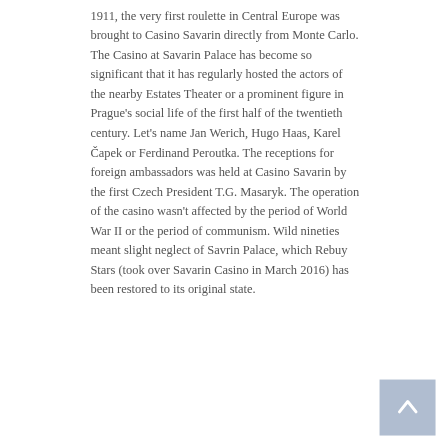1911, the very first roulette in Central Europe was brought to Casino Savarin directly from Monte Carlo. The Casino at Savarin Palace has become so significant that it has regularly hosted the actors of the nearby Estates Theater or a prominent figure in Prague's social life of the first half of the twentieth century. Let's name Jan Werich, Hugo Haas, Karel Čapek or Ferdinand Peroutka. The receptions for foreign ambassadors was held at Casino Savarin by the first Czech President T.G. Masaryk. The operation of the casino wasn't affected by the period of World War II or the period of communism. Wild nineties meant slight neglect of Savrin Palace, which Rebuy Stars (took over Savarin Casino in March 2016) has been restored to its original state.